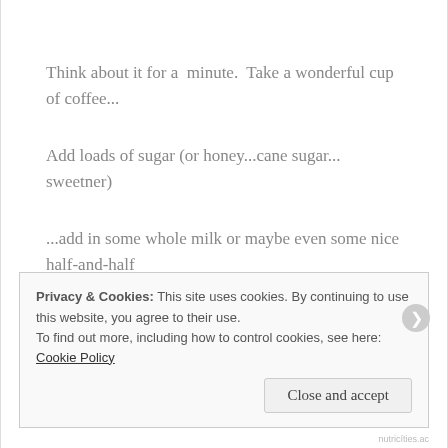Think about it for a  minute.  Take a wonderful cup of coffee...
Add loads of sugar (or honey...cane sugar... sweetner)
...add in some whole milk or maybe even some nice half-and-half
Privacy & Cookies: This site uses cookies. By continuing to use this website, you agree to their use.
To find out more, including how to control cookies, see here: Cookie Policy
Close and accept
nutricíties.ac